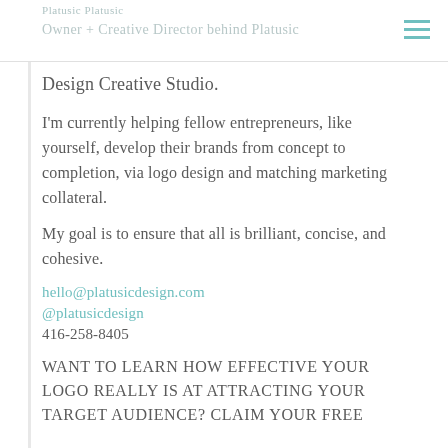Platusic Platusic — Owner + Creative Director behind Platusic Design Creative Studio.
Design Creative Studio.
I'm currently helping fellow entrepreneurs, like yourself, develop their brands from concept to completion, via logo design and matching marketing collateral.
My goal is to ensure that all is brilliant, concise, and cohesive.
hello@platusicdesign.com
@platusicdesign
416-258-8405
WANT to LEARN HOW EFFECTIVE YOUR LOGO REALLY IS at ATTRACTING YOUR TARGET AUDIENCE? Claim your FREE